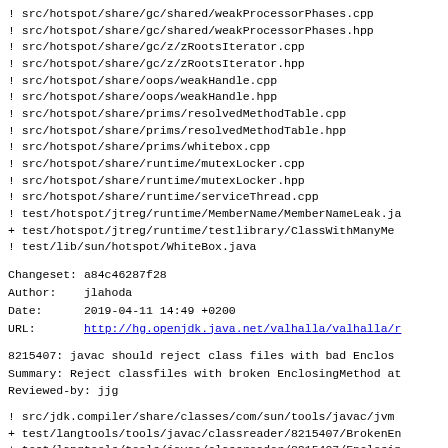! src/hotspot/share/gc/shared/weakProcessorPhases.cpp
! src/hotspot/share/gc/shared/weakProcessorPhases.hpp
! src/hotspot/share/gc/z/zRootsIterator.cpp
! src/hotspot/share/gc/z/zRootsIterator.hpp
! src/hotspot/share/oops/weakHandle.cpp
! src/hotspot/share/oops/weakHandle.hpp
! src/hotspot/share/prims/resolvedMethodTable.cpp
! src/hotspot/share/prims/resolvedMethodTable.hpp
! src/hotspot/share/prims/whitebox.cpp
! src/hotspot/share/runtime/mutexLocker.cpp
! src/hotspot/share/runtime/mutexLocker.hpp
! src/hotspot/share/runtime/serviceThread.cpp
! test/hotspot/jtreg/runtime/MemberName/MemberNameLeak.ja
+ test/hotspot/jtreg/runtime/testlibrary/ClassWithManyMe
! test/lib/sun/hotspot/WhiteBox.java
Changeset: a84c46287f28
Author:    jlahoda
Date:      2019-04-11 14:49 +0200
URL:       http://hg.openjdk.java.net/valhalla/valhalla/r
8215407: javac should reject class files with bad Enclos
Summary: Reject classfiles with broken EnclosingMethod at
Reviewed-by: jjg
! src/jdk.compiler/share/classes/com/sun/tools/javac/jvm
+ test/langtools/tools/javac/classreader/8215407/BrokenEn
+ test/langtools/tools/javac/classreader/8215407/Enclosin
+ test/langtools/tools/javac/classreader/8215407/Unrelate